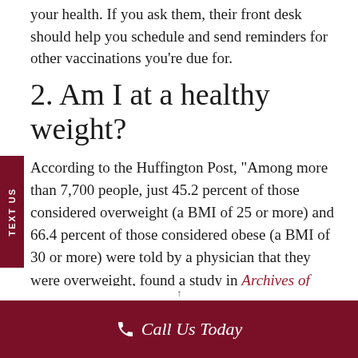your health. If you ask them, their front desk should help you schedule and send reminders for other vaccinations you're due for.
2. Am I at a healthy weight?
According to the Huffington Post, "Among more than 7,700 people, just 45.2 percent of those considered overweight (a BMI of 25 or more) and 66.4 percent of those considered obese (a BMI of 30 or more) were told by a physician that they were overweight, found a study in Archives of Internal Medicine." Extra weight is a risk factor for a number of ailments, like heart disease and some cancers.
Call Us Today